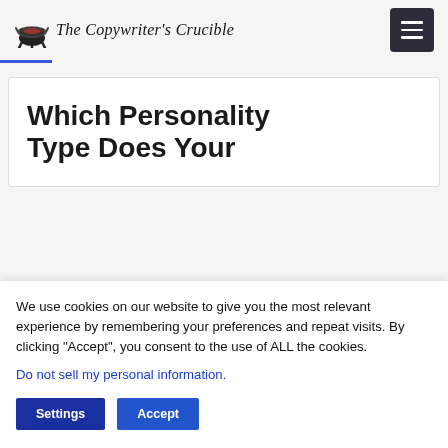The Copywriter's Crucible
Which Personality Type Does Your
We use cookies on our website to give you the most relevant experience by remembering your preferences and repeat visits. By clicking “Accept”, you consent to the use of ALL the cookies.
Do not sell my personal information.